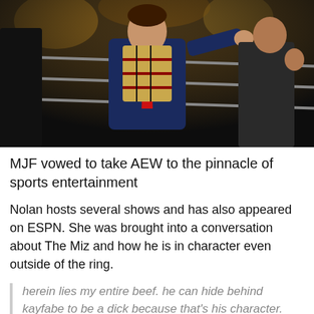[Figure (photo): A man in a navy suit with a red tie and Burberry plaid scarf standing near wrestling ring ropes with his arm outstretched. Another person is visible in the background.]
MJF vowed to take AEW to the pinnacle of sports entertainment
Nolan hosts several shows and has also appeared on ESPN. She was brought into a conversation about The Miz and how he is in character even outside of the ring.
herein lies my entire beef. he can hide behind kayfabe to be a dick because that's his character. when he's outside